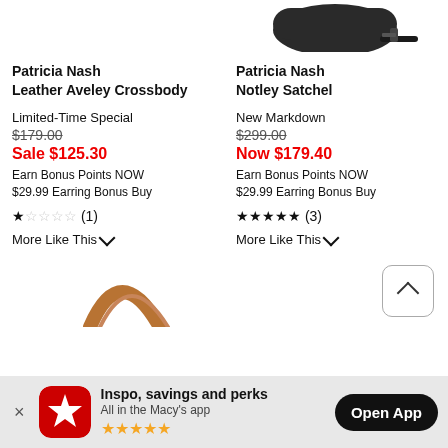[Figure (photo): Partial top view of black Patricia Nash crossbody bag on right side]
Patricia Nash
Leather Aveley Crossbody
Patricia Nash
Notley Satchel
Limited-Time Special
$179.00
Sale $125.30
Earn Bonus Points NOW
$29.99 Earring Bonus Buy
New Markdown
$299.00
Now $179.40
Earn Bonus Points NOW
$29.99 Earring Bonus Buy
★☆☆☆☆ (1)
More Like This ∨
★★★★★ (3)
More Like This ∨
[Figure (photo): Partial bottom view of brown bag handle, and back-to-top button]
Inspo, savings and perks
All in the Macy's app
Open App